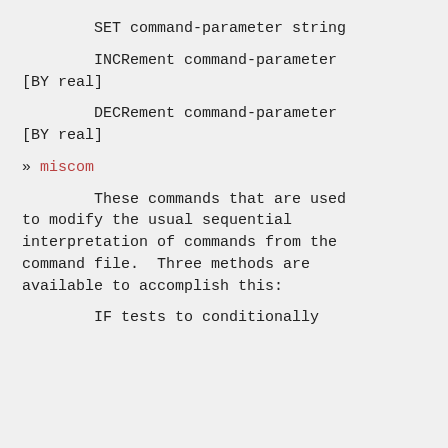SET command-parameter string
INCRement command-parameter [BY real]
DECRement command-parameter [BY real]
» miscom
These commands that are used to modify the usual sequential interpretation of commands from the command file.  Three methods are available to accomplish this:
IF tests to conditionally